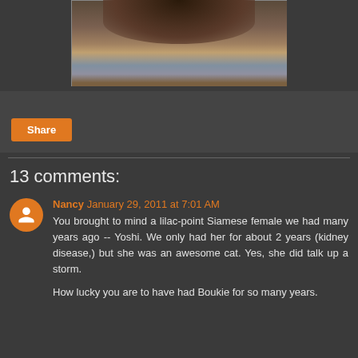[Figure (photo): A cat (dark brown/Siamese) curled up on a light blue mat or towel, photographed from above.]
Share
13 comments:
Nancy  January 29, 2011 at 7:01 AM
You brought to mind a lilac-point Siamese female we had many years ago -- Yoshi. We only had her for about 2 years (kidney disease,) but she was an awesome cat. Yes, she did talk up a storm.

How lucky you are to have had Boukie for so many years.